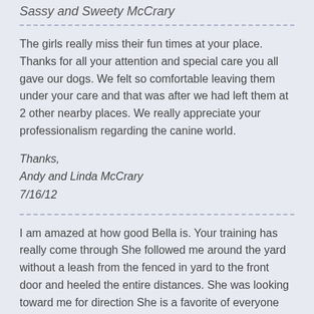Sassy and Sweety McCrary
The girls really miss their fun times at your place. Thanks for all your attention and special care you all gave our dogs. We felt so comfortable leaving them under your care and that was after we had left them at 2 other nearby places. We really appreciate your professionalism regarding the canine world.
Thanks,
Andy and Linda McCrary
7/16/12
I am amazed at how good Bella is. Your training has really come through She followed me around the yard without a leash from the fenced in yard to the front door and heeled the entire distances. She was looking toward me for direction She is a favorite of everyone she meets all